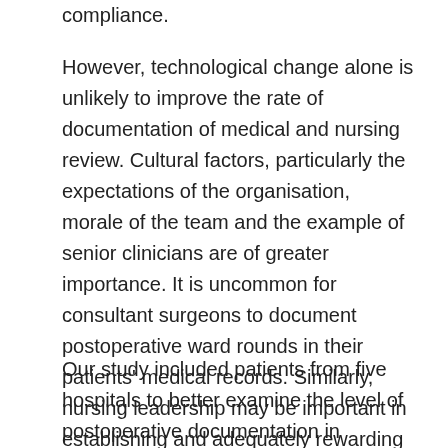compliance.
However, technological change alone is unlikely to improve the rate of documentation of medical and nursing review. Cultural factors, particularly the expectations of the organisation, morale of the team and the example of senior clinicians are of greater importance. It is uncommon for consultant surgeons to document postoperative ward rounds in their patients' medical records. Similarly, nursing leadership may be important in establishing and adequately rewarding a culture of diligence with documentation. Our finding that hospital allocation was a powerful determinant of such diligence suggests that these local cultural factors are paramount.13
Our study included patients from five hospitals to better examine the level of postoperative documentation in Australia. A larger study is required to examine whether